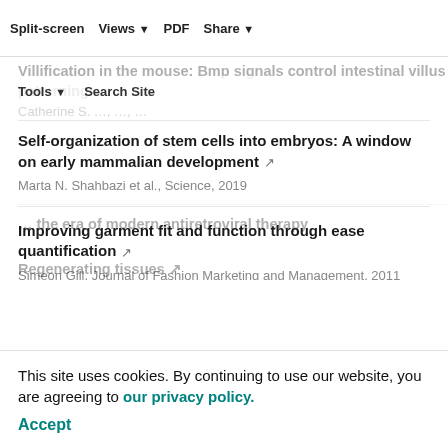Split-screen  Views  PDF  Share  Tools  Search Site
Self-organization of stem cells into embryos: A window on early mammalian development
Marta N. Shahbazi et al., Science, 2019
Improving garment fit and function through ease quantification
Simeon Gill, Journal of Fashion Marketing and Management, 2011
Dynamic Simulation Modelling for Evaluating Water Quality Response to Agricultural BMP Implementation
E. A. Cassell et al., Water Science and Technology, 1993
This site uses cookies. By continuing to use our website, you are agreeing to our privacy policy.
Accept